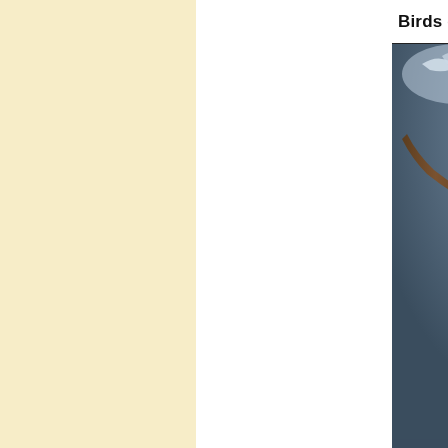Birds of a Feather . . .
[Figure (illustration): Audubon-style illustration of two snowy owls perched on a dead tree trunk against a dark blue-grey cloudy night sky. The upper owl is white with minimal dark markings, looking to the right. The lower owl has more dark spots and markings, looking forward with prominent yellow eyes.]